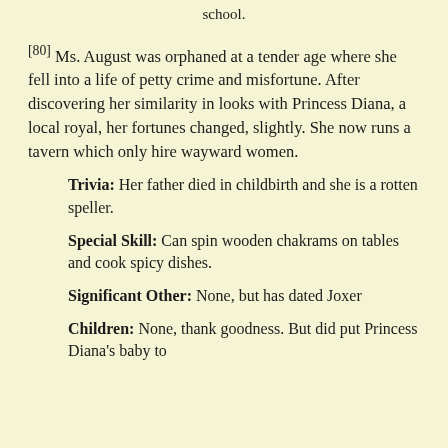school.
[80] Ms. August was orphaned at a tender age where she fell into a life of petty crime and misfortune. After discovering her similarity in looks with Princess Diana, a local royal, her fortunes changed, slightly. She now runs a tavern which only hire wayward women.
Trivia: Her father died in childbirth and she is a rotten speller.
Special Skill: Can spin wooden chakrams on tables and cook spicy dishes.
Significant Other: None, but has dated Joxer
Children: None, thank goodness. But did put Princess Diana's baby to